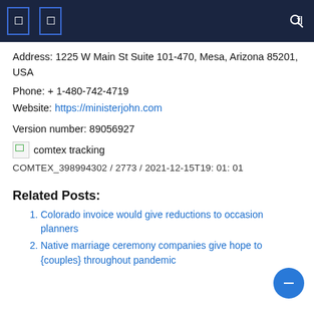Address: 1225 W Main St Suite 101-470, Mesa, Arizona 85201, USA
Phone: + 1-480-742-4719
Website: https://ministerjohn.com
Version number: 89056927
[Figure (other): Broken image icon labeled 'comtex tracking']
COMTEX_398994302 / 2773 / 2021-12-15T19: 01: 01
Related Posts:
Colorado invoice would give reductions to occasion planners
Native marriage ceremony companies give hope to {couples} throughout pandemic